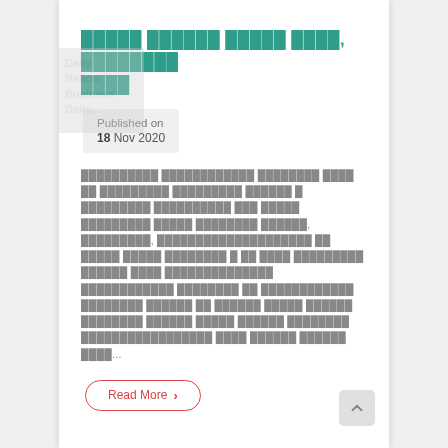█████ ██████ █████ ████, ████████ ████
Published on
18 Nov 2020
██████████ ████████████ ████████ ████ ██ █████████ █████████ ██████ █ █████████ ██████████ ███ █████ █████████ █████ ████████ ██████, █████████, ████████████████████ ██ █████ █████ ████████ █ ██ ████ █████████ ██████ ████ ██████████████ ████████████ ████████ ██ ████████████ ████████ ██████ ██ ██████ █████ ██████ ████████ ██████ █████ ██████ ████████ █████████████████ ████ ██████ ██████ ████...
Read More →